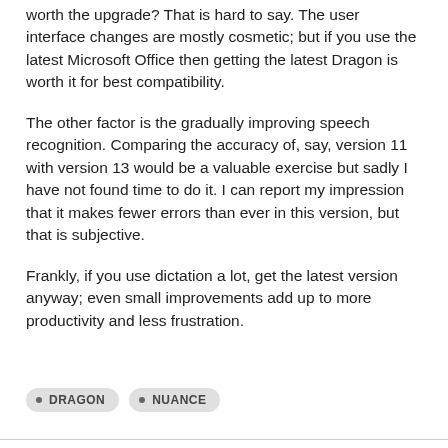worth the upgrade? That is hard to say. The user interface changes are mostly cosmetic; but if you use the latest Microsoft Office then getting the latest Dragon is worth it for best compatibility.
The other factor is the gradually improving speech recognition. Comparing the accuracy of, say, version 11 with version 13 would be a valuable exercise but sadly I have not found time to do it. I can report my impression that it makes fewer errors than ever in this version, but that is subjective.
Frankly, if you use dictation a lot, get the latest version anyway; even small improvements add up to more productivity and less frustration.
DRAGON
NUANCE